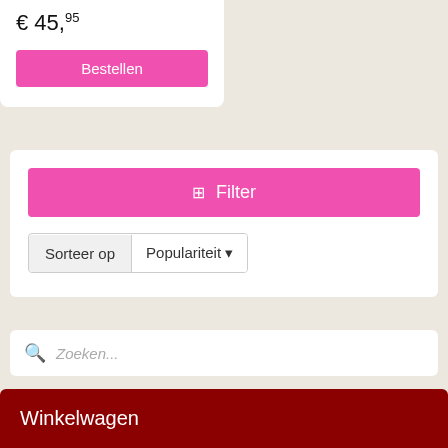€ 45,95
Bestellen
Filter
Sorteer op  Populariteit
Zoeken...
Winkelwagen